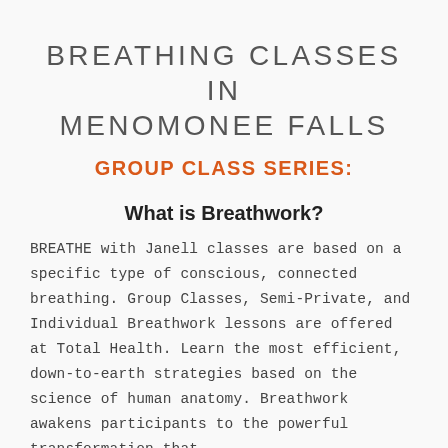BREATHING CLASSES IN MENOMONEE FALLS
GROUP CLASS SERIES:
What is Breathwork?
BREATHE with Janell classes are based on a specific type of conscious, connected breathing. Group Classes, Semi-Private, and Individual Breathwork lessons are offered at Total Health. Learn the most efficient, down-to-earth strategies based on the science of human anatomy. Breathwork awakens participants to the powerful transformation that…